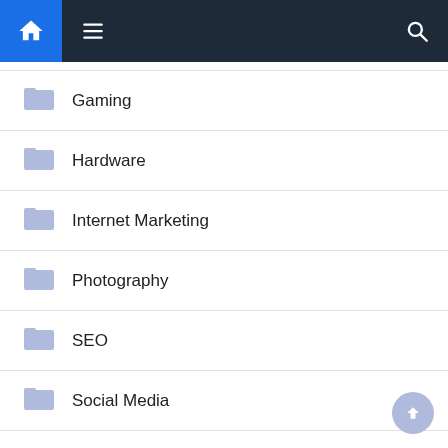Navigation bar with home, menu, and search icons
Gaming
Hardware
Internet Marketing
Photography
SEO
Social Media
Software
Tech
Tech Updates